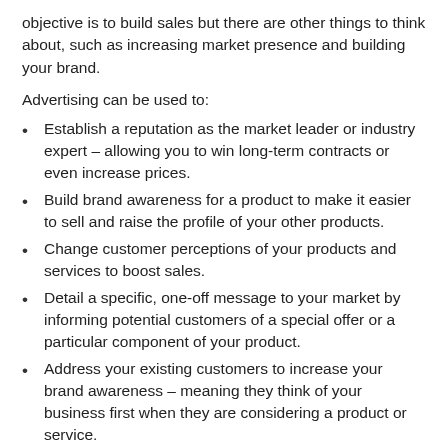objective is to build sales but there are other things to think about, such as increasing market presence and building your brand.
Advertising can be used to:
Establish a reputation as the market leader or industry expert – allowing you to win long-term contracts or even increase prices.
Build brand awareness for a product to make it easier to sell and raise the profile of your other products.
Change customer perceptions of your products and services to boost sales.
Detail a specific, one-off message to your market by informing potential customers of a special offer or a particular component of your product.
Address your existing customers to increase your brand awareness – meaning they think of your business first when they are considering a product or service.